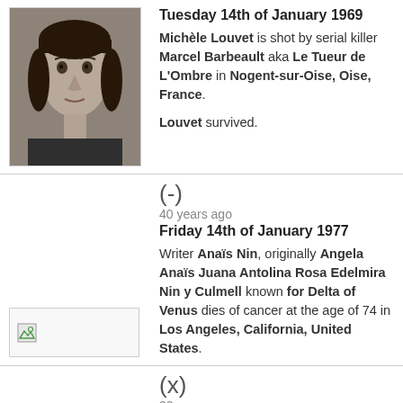[Figure (photo): Black and white portrait photo of a young woman]
Tuesday 14th of January 1969
Michèle Louvet is shot by serial killer Marcel Barbeault aka Le Tueur de L'Ombre in Nogent-sur-Oise, Oise, France. Louvet survived.
(-)
40 years ago
Friday 14th of January 1977
Writer Anaïs Nin, originally Angela Anaïs Juana Antolina Rosa Edelmira Nin y Culmell known for Delta of Venus dies of cancer at the age of 74 in Los Angeles, California, United States.
[Figure (photo): Broken/missing image placeholder]
(x)
32 years ago
Monday 14th of January 1985